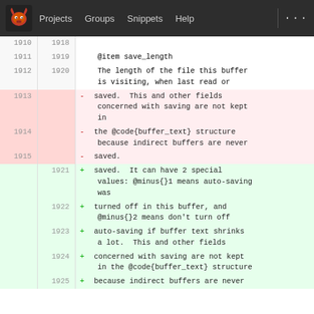[Figure (screenshot): GitLab-style navigation bar with logo (GNU mascot), Projects, Groups, Snippets, Help links on dark background]
| old line | new line | diff content |
| --- | --- | --- |
| 1910 | 1918 |  |
| 1911 | 1919 |     @item save_length |
| 1912 | 1920 |     The length of the file this buffer
    is visiting, when last read or |
| 1913 |  |   - saved.  This and other fields
    concerned with saving are not kept
    in |
| 1914 |  |   - the @code{buffer_text} structure
    because indirect buffers are never |
| 1915 |  |   - saved. |
|  | 1921 |   + saved.  It can have 2 special
    values: @minus{}1 means auto-saving
    was |
|  | 1922 |   + turned off in this buffer, and
    @minus{}2 means don't turn off |
|  | 1923 |   + auto-saving if buffer text shrinks
    a lot.  This and other fields |
|  | 1924 |   + concerned with saving are not kept
    in the @code{buffer_text} structure |
|  | 1925 |   + because indirect buffers are never |